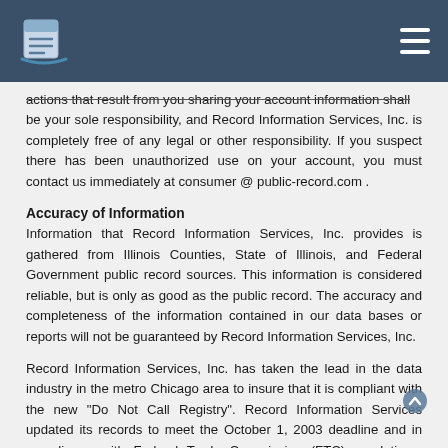[Logo] Record Information Services | [menu icon]
actions that result from you sharing your account information shall be your sole responsibility, and Record Information Services, Inc. is completely free of any legal or other responsibility. If you suspect there has been unauthorized use on your account, you must contact us immediately at consumer @ public-record.com .
Accuracy of Information
Information that Record Information Services, Inc. provides is gathered from Illinois Counties, State of Illinois, and Federal Government public record sources. This information is considered reliable, but is only as good as the public record. The accuracy and completeness of the information contained in our data bases or reports will not be guaranteed by Record Information Services, Inc.
Record Information Services, Inc. has taken the lead in the data industry in the metro Chicago area to insure that it is compliant with the new "Do Not Call Registry". Record Information Services updated its records to meet the October 1, 2003 deadline and in compliance with Federal Trade Commission (FTC) regulations. Record Information Services completes updates twice monthly. We strongly recommend that people visit the web site at http://...